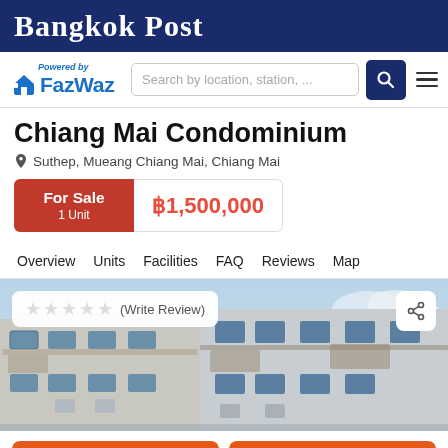Bangkok Post
[Figure (logo): FazWaz logo with house icon, blue text, 'Powered by' italic above]
Search by location, station, ...
Chiang Mai Condominium
Suthep, Mueang Chiang Mai, Chiang Mai
For Sale 1 Unit ฿1,500,000
Overview
Units
Facilities
FAQ
Reviews
Map
[Figure (photo): Exterior photo of Chiang Mai Condominium building, white walls, blue windows, awnings, blue sky]
(Write Review)
Request Details
Call